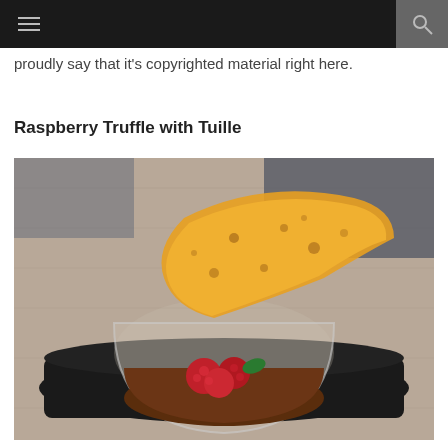Navigation bar with menu and search icons
proudly say that it's copyrighted material right here.
Raspberry Truffle with Tuille
[Figure (photo): A glass bowl containing chocolate mousse or truffle topped with fresh raspberries and mint, with a golden lacy tuille wafer leaning against the rim, served on a black rectangular plate on a wooden table.]